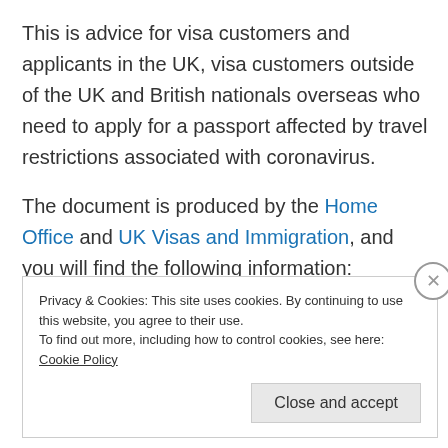This is advice for visa customers and applicants in the UK, visa customers outside of the UK and British nationals overseas who need to apply for a passport affected by travel restrictions associated with coronavirus.
The document is produced by the Home Office and UK Visas and Immigration, and you will find the following information:
Privacy & Cookies: This site uses cookies. By continuing to use this website, you agree to their use. To find out more, including how to control cookies, see here: Cookie Policy